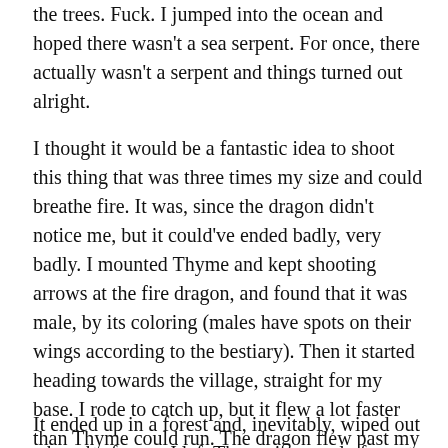the trees. Fuck. I jumped into the ocean and hoped there wasn't a sea serpent. For once, there actually wasn't a serpent and things turned out alright.
I thought it would be a fantastic idea to shoot this thing that was three times my size and could breathe fire. It was, since the dragon didn't notice me, but it could've ended badly, very badly. I mounted Thyme and kept shooting arrows at the fire dragon, and found that it was male, by its coloring (males have spots on their wings according to the bestiary). Then it started heading towards the village, straight for my base. I rode to catch up, but it flew a lot faster than Thyme could run. The dragon flew past my base. Let me rephrase: a fucking fire-breathing dragon that destroys shit and chars the rest flew not even a hundred blocks past my base.
It ended up in a forest and, inevitably, wiped out a bunch of trees. I left Thyme in a pool of water so he wouldn't get